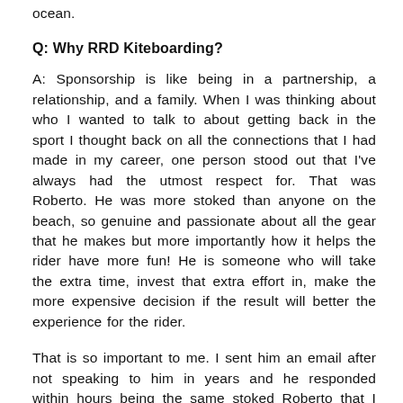ocean.
Q: Why RRD Kiteboarding?
A: Sponsorship is like being in a partnership, a relationship, and a family. When I was thinking about who I wanted to talk to about getting back in the sport I thought back on all the connections that I had made in my career, one person stood out that I've always had the utmost respect for. That was Roberto. He was more stoked than anyone on the beach, so genuine and passionate about all the gear that he makes but more importantly how it helps the rider have more fun! He is someone who will take the extra time, invest that extra effort in, make the more expensive decision if the result will better the experience for the rider.
That is so important to me. I sent him an email after not speaking to him in years and he responded within hours being the same stoked Roberto that I remembered. What I did not expect was who he